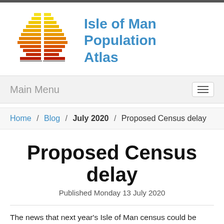[Figure (logo): Isle of Man Population Atlas logo — a population pyramid shape made of stacked horizontal bars in yellow, orange, and red tones, split vertically in the center]
Isle of Man Population Atlas
Main Menu
Home / Blog / July 2020 / Proposed Census delay
Proposed Census delay
Published Monday 13 July 2020
The news that next year's Isle of Man census could be delayed by